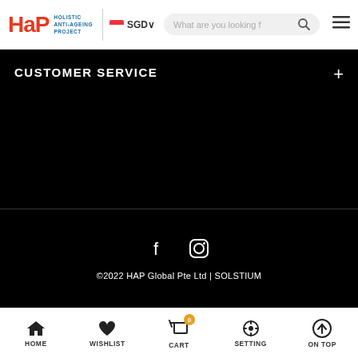HAP - Holistic Anti-Ageing Project | SGD | Search bar | Menu
CUSTOMER SERVICE
[Figure (screenshot): Social media icons: Facebook and Instagram]
©2022 HAP Global Pte Ltd | SOLSTIUM
HOME | WISHLIST | CART 0 | SETTING | ON TOP